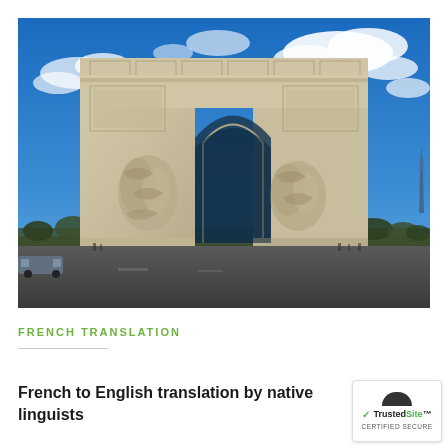[Figure (photo): Photograph of the Arc de Triomphe in Paris under a blue sky with white clouds. The monument is viewed from a low angle showing its ornate stone carvings and archway. People and vehicles are visible at street level.]
FRENCH TRANSLATION
French to English translation by native linguists